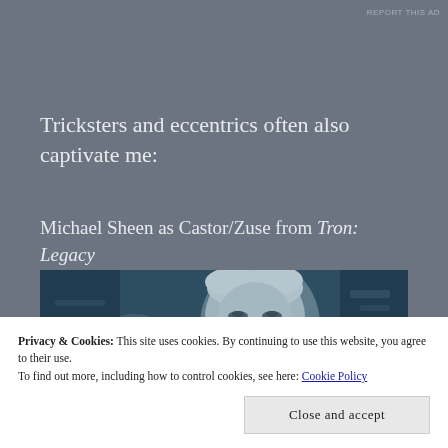REPORT THIS AD
Tricksters and eccentrics often also captivate me:
Michael Sheen as Castor/Zuse from Tron: Legacy
[Figure (photo): Close-up of Michael Sheen as Castor/Zuse from Tron: Legacy, showing a pale-faced character with white hair against a dark sci-fi background with teal color grading]
Privacy & Cookies: This site uses cookies. By continuing to use this website, you agree to their use.
To find out more, including how to control cookies, see here: Cookie Policy
Close and accept